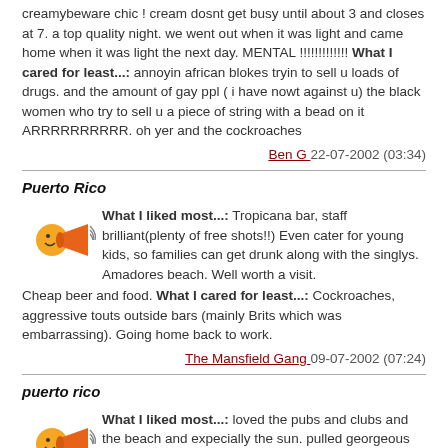creamybeware chic ! cream dosnt get busy until about 3 and closes at 7. a top quality night. we went out when it was light and came home when it was light the next day. MENTAL !!!!!!!!!!!!! What I cared for least...: annoyin african blokes tryin to sell u loads of drugs. and the amount of gay ppl ( i have nowt against u) the black women who try to sell u a piece of string with a bead on it ARRRRRRRRRR. oh yer and the cockroaches
Ben G 22-07-2002 (03:34)
Puerto Rico
What I liked most...: Tropicana bar, staff brilliant(plenty of free shots!!) Even cater for young kids, so families can get drunk along with the singlys. Amadores beach. Well worth a visit. Cheap beer and food. What I cared for least...: Cockroaches, aggressive touts outside bars (mainly Brits which was embarrassing). Going home back to work.
The Mansfield Gang 09-07-2002 (07:24)
puerto rico
What I liked most...: loved the pubs and clubs and the beach and expecially the sun. pulled georgeous lad in convent garden, harlys is megga! well fit guys in skimpy tops! going again 29/07/02 to playa del ingles What I cared for least...: